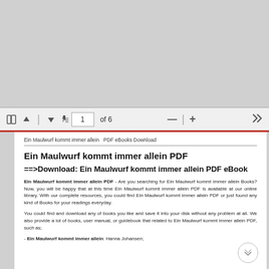[Figure (screenshot): Screenshot of a PDF viewer toolbar showing navigation controls: sidebar toggle, up arrow, separator, down arrow, page cursor icon, page number input showing '1', 'of 6', minus button, separator, plus button, and double right arrow ('>>'). Below the toolbar is a PDF document page.]
Ein Maulwurf kommt immer allein  PDF eBooks Download
Ein Maulwurf kommt immer allein PDF
==>Download: Ein Maulwurf kommt immer allein PDF eBook
Ein Maulwurf kommt immer allein PDF - Are you searching for Ein Maulwurf kommt immer allein Books? Now, you will be happy that at this time Ein Maulwurf kommt immer allein PDF is available at our online library. With our complete resources, you could find Ein Maulwurf kommt immer allein PDF or just found any kind of Books for your readings everyday.
You could find and download any of books you like and save it into your disk without any problem at all. We also provide a lot of books, user manual, or guidebook that related to Ein Maulwurf kommt immer allein PDF, such as;
- Ein Maulwurf kommt immer allein: Hanna Johansen;